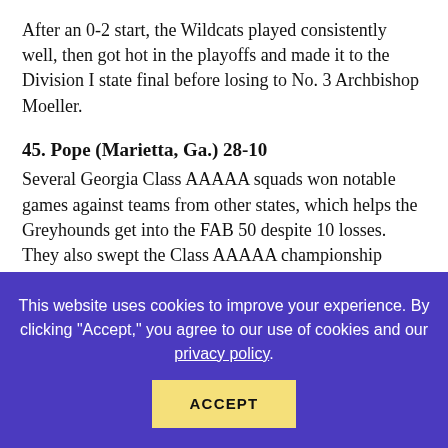After an 0-2 start, the Wildcats played consistently well, then got hot in the playoffs and made it to the Division I state final before losing to No. 3 Archbishop Moeller.
45. Pope (Marietta, Ga.) 28-10
Several Georgia Class AAAAA squads won notable games against teams from other states, which helps the Greyhounds get into the FAB 50 despite 10 losses. They also swept the Class AAAAA championship series with two wins over Greenbrier of Evans.
46. Carl Albert (Midwest City, Okla.) 34-3
For the second year in a row it was the Titans who defeated Claremore in the Class 5A state championship. They were victorious this season 4-2. They became the first school to repeat as 5A state champions since 1992 and 1993.
This website uses cookies to improve your experience. By clicking "Accept," you agree to our use of cookies and our privacy policy.